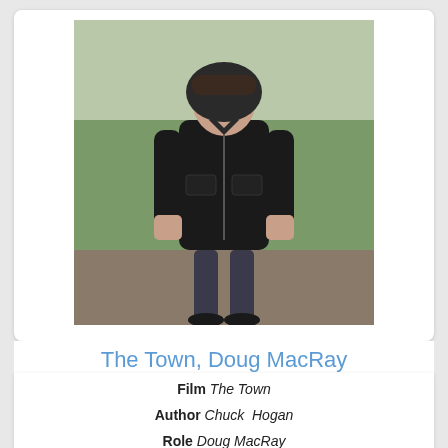[Figure (photo): Man in black leather jacket standing outdoors, hands in pockets]
The Town, Doug MacRay
Film The Town
Author Chuck Hogan
Role Doug MacRay
Actor Ben Affleck
[Figure (photo): Two people standing in a dimly lit interior — a young woman and a young man in a bow tie]